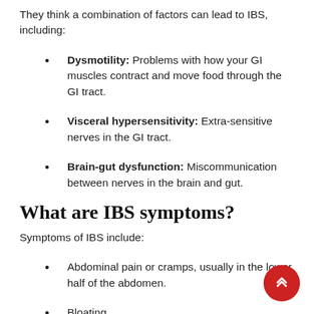They think a combination of factors can lead to IBS, including:
Dysmotility: Problems with how your GI muscles contract and move food through the GI tract.
Visceral hypersensitivity: Extra-sensitive nerves in the GI tract.
Brain-gut dysfunction: Miscommunication between nerves in the brain and gut.
What are IBS symptoms?
Symptoms of IBS include:
Abdominal pain or cramps, usually in the lower half of the abdomen.
Bloating.